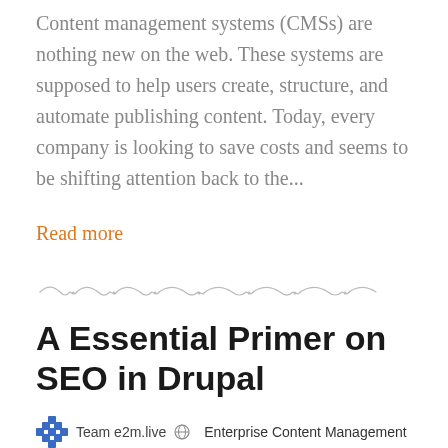Content management systems (CMSs) are nothing new on the web. These systems are supposed to help users create, structure, and automate publishing content. Today, every company is looking to save costs and seems to be shifting attention back to the...
Read more
[Figure (illustration): A decorative wavy divider line with dots]
A Essential Primer on SEO in Drupal
Team e2m.live  Enterprise Content Management